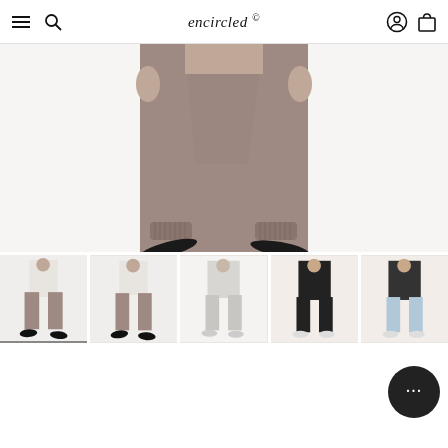encircled
[Figure (photo): Close-up of model's legs wearing taupe/mauve Fair Cloud Terry Jogger pants with ribbed cuffs and black slip-on mule shoes, against white background]
[Figure (photo): Thumbnail 1: Full-body front view of model in white tank and taupe joggers with black shoes]
[Figure (photo): Thumbnail 2: Front view of model in white tank and taupe joggers showing cropped leg and black mules]
[Figure (photo): Thumbnail 3: Model in grey/white outfit wearing light grey joggers]
[Figure (photo): Thumbnail 4: Model in black top and black joggers on peach/beige background]
[Figure (photo): Thumbnail 5: Model in dark top and light wash / pale blue joggers on peach background]
The Fair Cloud Terry Jogger
$88.00 USD
or 4 interest-free payments of $22.00 USD with